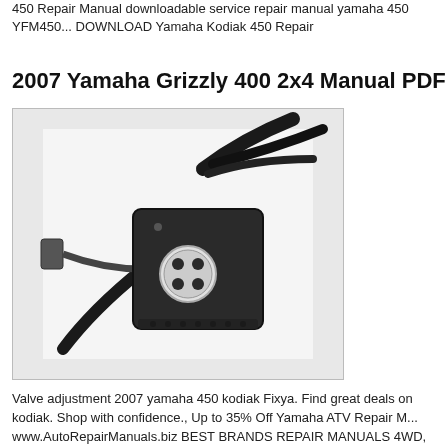450 Repair Manual downloadable service repair manual yamaha 450 YFM450... DOWNLOAD Yamaha Kodiak 450 Repair
2007 Yamaha Grizzly 400 2x4 Manual PDF D
[Figure (photo): Photo of a Yamaha ATV handlebar switch assembly with wiring harness, black plastic housing with connector ports visible]
Valve adjustment 2007 yamaha 450 kodiak Fixya. Find great deals on kodiak. Shop with confidence., Up to 35% Off Yamaha ATV Repair Manuals. www.AutoRepairManuals.biz BEST BRANDS REPAIR MANUALS 4WD, 2007 Grizzly 450 4WD Factory Service.